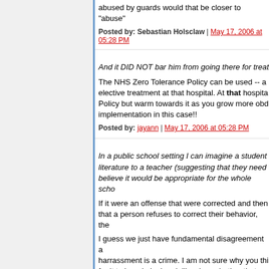abused by guards would that be closer to "abuse"
Posted by: Sebastian Holsclaw | May 17, 2006 at 05:28 PM
And it DID NOT bar him from going there for treat
The NHS Zero Tolerance Policy can be used -- an elective treatment at that hospital. At that hospital. Policy but warm towards it as you grow more obd implementation in this case!!
Posted by: jayann | May 17, 2006 at 05:28 PM
In a public school setting I can imagine a student literature to a teacher (suggesting that they need believe it would be appropriate for the whole scho
If it were an offense that were corrected and then that a person refuses to correct their behavior, the
I guess we just have fundamental disagreement a harrassment is a crime. I am not sure why you thi for it to be criminal and, likewise, whether that me in someone's yard should be a criminal offense.